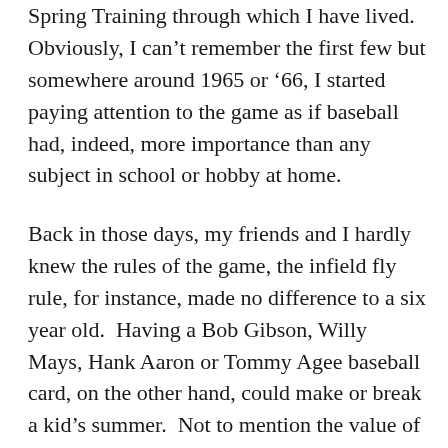Spring Training through which I have lived.  Obviously, I can't remember the first few but somewhere around 1965 or '66, I started paying attention to the game as if baseball had, indeed, more importance than any subject in school or hobby at home.
Back in those days, my friends and I hardly knew the rules of the game, the infield fly rule, for instance, made no difference to a six year old.  Having a Bob Gibson, Willy Mays, Hank Aaron or Tommy Agee baseball card, on the other hand, could make or break a kid's summer.  Not to mention the value of the Mickey Mantle, always one of the high numbers released late in the season that caused me to buy so many packs of Topps bubble gum cards that I've paid off a few boats for dentists since then.